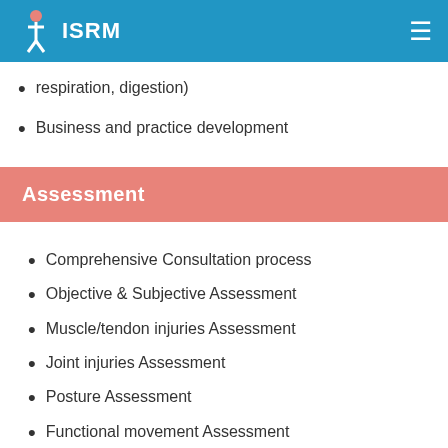ISRM
respiration, digestion)
Business and practice development
Assessment
Comprehensive Consultation process
Objective & Subjective Assessment
Muscle/tendon injuries Assessment
Joint injuries Assessment
Posture Assessment
Functional movement Assessment
Clinical Reasoning Process